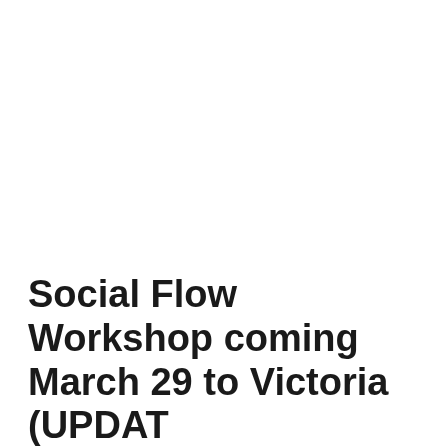Social Flow Workshop coming March 29 to Victoria (UPDATE